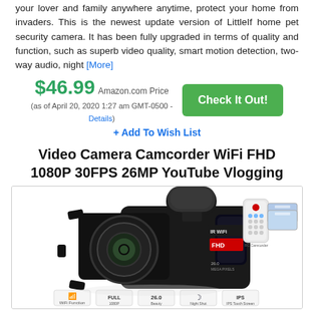your lover and family anywhere anytime, protect your home from invaders. This is the newest update version of LittleIf home pet security camera. It has been fully upgraded in terms of quality and function, such as superb video quality, smart motion detection, two-way audio, night [More]
$46.99 Amazon.com Price (as of April 20, 2020 1:27 am GMT-0500 - Details)
+ Add To Wish List
Video Camera Camcorder WiFi FHD 1080P 30FPS 26MP YouTube Vlogging
[Figure (photo): Video camera camcorder product photo showing a black FHD 1080P 26MP WiFi camera with external microphone, lens hood, remote control, batteries, and feature icons at bottom (WiFi Function, 1080P, 26.0MP, Night Shot, IPS Touch Screen)]